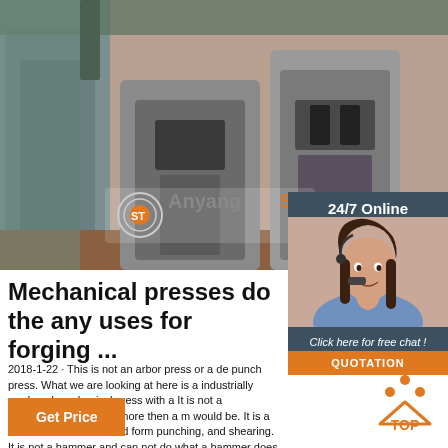[Figure (photo): Industrial forging press metal dies close-up photo with Anyang ST logo overlay]
[Figure (photo): 24/7 Online customer service widget with female agent wearing headset, Click here for free chat label, and QUOTATION button]
Mechanical presses do the any uses for forging ...
2018-1-22 · This is not an arbor press or a de punch press. What we are looking at here is a industrially produced mechanical press with a It is not a blacksmithing tool any more then a m would be. It is a machine for hot and cold form punching, and shearing. It is not a hammer and can not do what a hammer does.
[Figure (other): Get Price orange button]
[Figure (other): TOP scroll-to-top orange icon button]